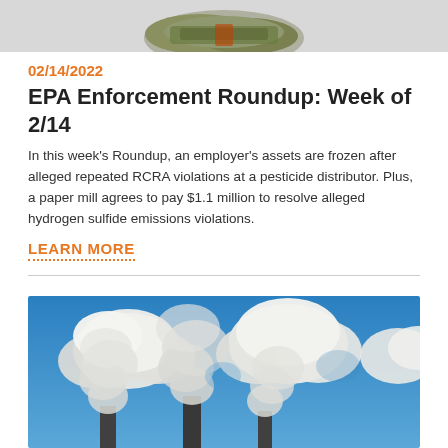[Figure (photo): Partial view of a decorative or illustrative image at the top of the page, cropped — appears to show some bundled items, possibly cash or documents.]
02/14/2022
EPA Enforcement Roundup: Week of 2/14
In this week’s Roundup, an employer’s assets are frozen after alleged repeated RCRA violations at a pesticide distributor. Plus, a paper mill agrees to pay $1.1 million to resolve alleged hydrogen sulfide emissions violations.
LEARN MORE
[Figure (photo): Photograph of industrial smokestacks emitting large white plumes of smoke against a blue sky with clouds.]